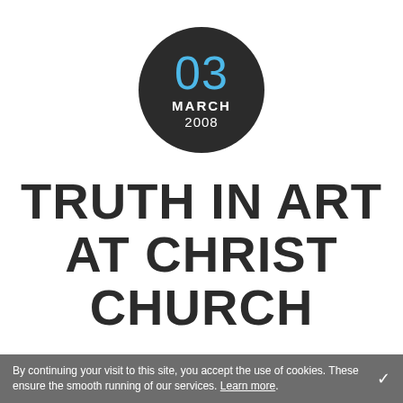[Figure (other): Dark circular badge showing date: 03 MARCH 2008, with '03' in light blue and 'MARCH 2008' in white]
TRUTH IN ART AT CHRIST CHURCH
By continuing your visit to this site, you accept the use of cookies. These ensure the smooth running of our services. Learn more.